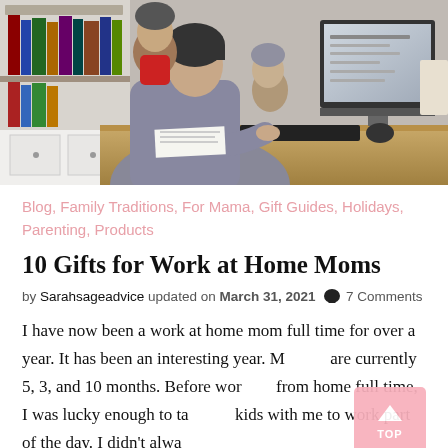[Figure (photo): A woman working at a computer desk while holding/managing young children climbing on her]
Blog, Family Traditions, For Mama, Gift Guides, Holidays, Parenting, Products
10 Gifts for Work at Home Moms
by Sarahsageadvice updated on March 31, 2021 💬 7 Comments
I have now been a work at home mom full time for over a year. It has been an interesting year. My kids are currently 5, 3, and 10 months. Before working from home full time, I was lucky enough to take my kids with me to work part of the day. I didn't always